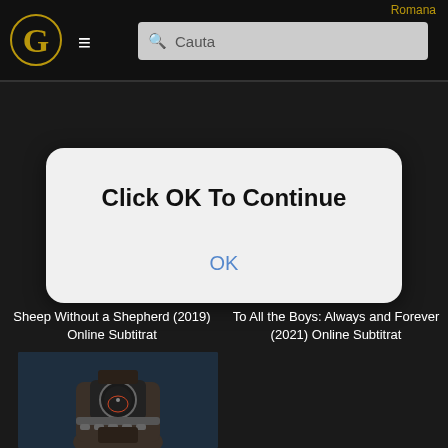Romana | ≡ | Cauta
Click OK To Continue
OK
Sheep Without a Shepherd (2019) Online Subtitrat
To All the Boys: Always and Forever (2021) Online Subtitrat
[Figure (photo): Thumbnail showing a wrist with a watch and chain bracelet]